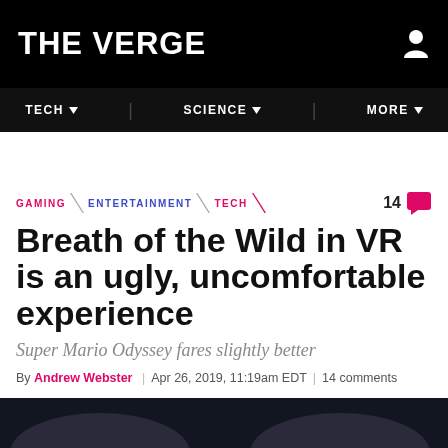THE VERGE
TECH | SCIENCE | MORE
GAMING \ ENTERTAINMENT \ TECH  14 comments
Breath of the Wild in VR is an ugly, uncomfortable experience
Super Mario Odyssey fares slightly better
By Andrew Webster | Apr 26, 2019, 11:19am EDT | 14 comments
f  [twitter]  SHARE